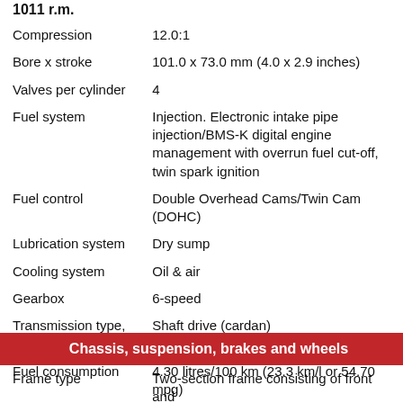| Property | Value |
| --- | --- |
| Compression | 12.0:1 |
| Bore x stroke | 101.0 x 73.0 mm (4.0 x 2.9 inches) |
| Valves per cylinder | 4 |
| Fuel system | Injection. Electronic intake pipe injection/BMS-K digital engine management with overrun fuel cut-off, twin spark ignition |
| Fuel control | Double Overhead Cams/Twin Cam (DOHC) |
| Lubrication system | Dry sump |
| Cooling system | Oil & air |
| Gearbox | 6-speed |
| Transmission type, final drive | Shaft drive (cardan) |
| Fuel consumption | 4.30 litres/100 km (23.3 km/l or 54.70 mpg) |
| Greenhouse gases | 99.8 CO2 g/km. (CO2 - Carbon dioxide emission) |
| Emission details | Closed-loop 3-way catalytic converter, emission standard EU-3 |
Chassis, suspension, brakes and wheels
| Property | Value |
| --- | --- |
| Frame type | Two-section frame consisting of front and |